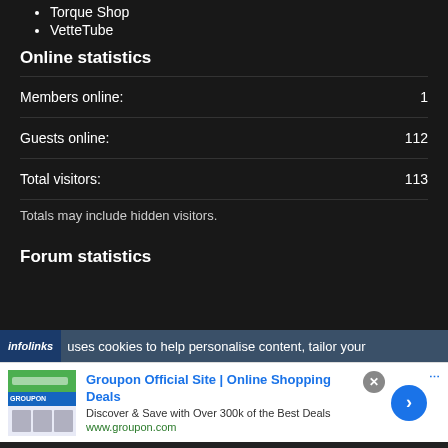Torque Shop
VetteTube
Online statistics
Members online: 1
Guests online: 112
Total visitors: 113
Totals may include hidden visitors.
Forum statistics
infolinks uses cookies to help personalise content, tailor your
[Figure (screenshot): Groupon advertisement banner with logo, title 'Groupon Official Site | Online Shopping Deals', description 'Discover & Save with Over 300k of the Best Deals', URL 'www.groupon.com', and a blue arrow button]